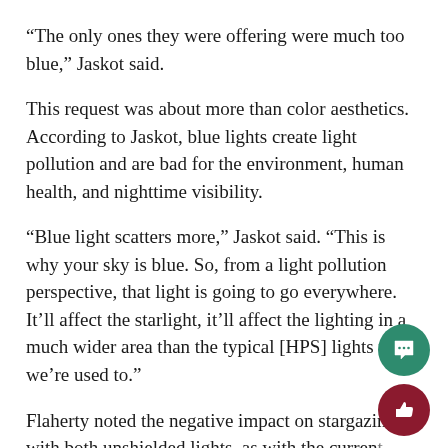“The only ones they were offering were much too blue,” Jaskot said.
This request was about more than color aesthetics. According to Jaskot, blue lights create light pollution and are bad for the environment, human health, and nighttime visibility.
“Blue light scatters more,” Jaskot said. “This is why your sky is blue. So, from a light pollution perspective, that light is going to go everywhere. It’ll affect the starlight, it’ll affect the lighting in a much wider area than the typical [HPS] lights that we’re used to.”
Flaherty noted the negative impact on stargazing with both unshielded lights, as with the current HPS lights, or blue LED lights, as with the